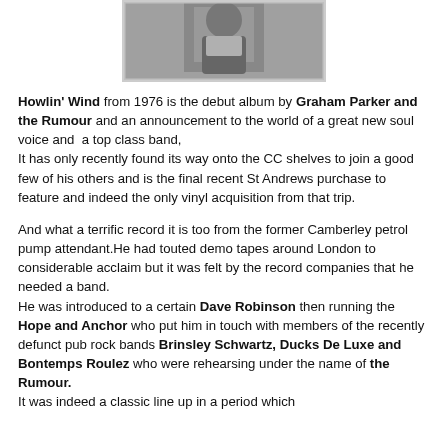[Figure (photo): Black and white photograph of a person, partially visible at top of page]
Howlin' Wind from 1976 is the debut album by Graham Parker and the Rumour and an announcement to the world of a great new soul voice and  a top class band,
It has only recently found its way onto the CC shelves to join a good few of his others and is the final recent St Andrews purchase to feature and indeed the only vinyl acquisition from that trip.
And what a terrific record it is too from the former Camberley petrol pump attendant.He had touted demo tapes around London to considerable acclaim but it was felt by the record companies that he needed a band.
He was introduced to a certain Dave Robinson then running the Hope and Anchor who put him in touch with members of the recently defunct pub rock bands Brinsley Schwartz, Ducks De Luxe and Bontemps Roulez who were rehearsing under the name of the Rumour.
It was indeed a classic line up in a period which...